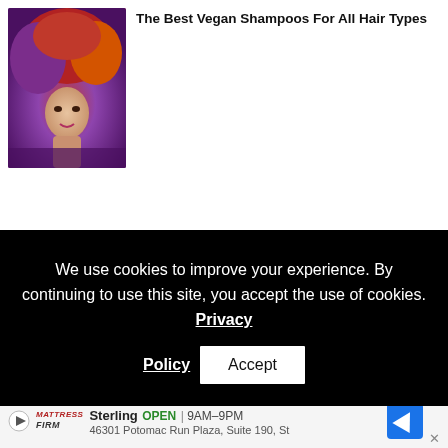[Figure (photo): Woman with dramatic large voluminous red, orange, and purple styled hair, artistic portrait]
The Best Vegan Shampoos For All Hair Types
We use cookies to improve your experience. By continuing to use this site, you accept the use of cookies. Privacy Policy
[Figure (photo): Woman from behind wearing colorful patterned jacket outdoors]
Sterling  OPEN  9AM–9PM  46301 Potomac Run Plaza, Suite 190, St